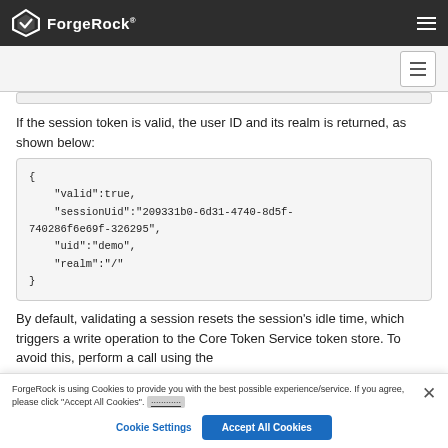ForgeRock
If the session token is valid, the user ID and its realm is returned, as shown below:
[Figure (screenshot): Code block showing JSON response: { "valid":true, "sessionUid":"209331b0-6d31-4740-8d5f-740286f6e69f-326295", "uid":"demo", "realm":"/" }]
By default, validating a session resets the session's idle time, which triggers a write operation to the Core Token Service token store. To avoid this, perform a call using the
ForgeRock is using Cookies to provide you with the best possible experience/service. If you agree, please click "Accept All Cookies".
Cookie Settings
Accept All Cookies